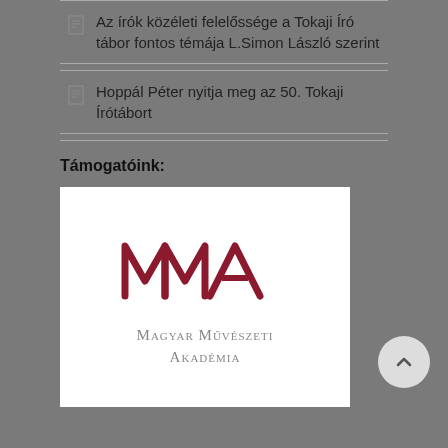Az írók közéleti felelőssége a Tokaji Író tábor fontos témája L.Simon László szerint
Hoppál Péter nyitja meg az 50. Tokaji Írótábort
Támogatóink:
[Figure (logo): Magyar Művészeti Akadémia (MMA) logo — stylized dark red MMA letters above the text 'Magyar Művészeti Akadémia' in grey serif font]